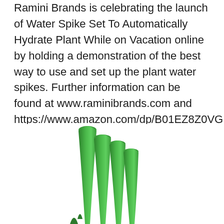Ramini Brands is celebrating the launch of Water Spike Set To Automatically Hydrate Plant While on Vacation online by holding a demonstration of the best way to use and set up the plant water spikes. Further information can be found at www.raminibrands.com and https://www.amazon.com/dp/B01EZ8Z0VG.
[Figure (photo): Green plant water spikes (cone-shaped, pointed tips) photographed from below against a white background, showing 4-5 green spike tips arranged in a fan pattern.]